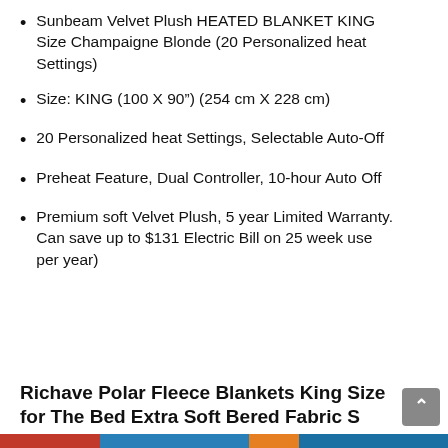Sunbeam Velvet Plush HEATED BLANKET KING Size Champaigne Blonde (20 Personalized heat Settings)
Size: KING (100 X 90") (254 cm X 228 cm)
20 Personalized heat Settings, Selectable Auto-Off
Preheat Feature, Dual Controller, 10-hour Auto Off
Premium soft Velvet Plush, 5 year Limited Warranty. Can save up to $131 Electric Bill on 25 week use per year)
Richave Polar Fleece Blankets King Size for The Bed Extra Soft Bered Fabric S...